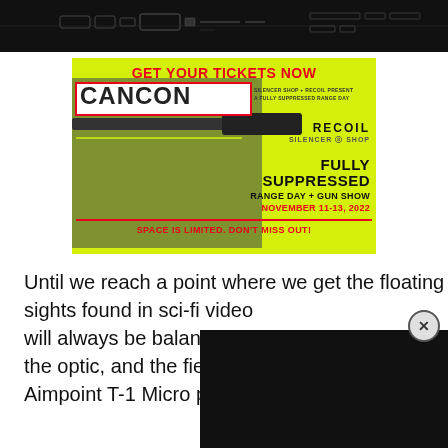[Figure (photo): Dark decorative header bar with tech/mechanical graphic elements]
[Figure (infographic): Advertisement for CANCON event on yellow-green background. Text reads: GET YOUR TICKETS NOW, CANCON, SILENCER SHOP + RECOIL PRESENT A FULLY SUPPRESSED RANGE DAY, RECOIL, SILENCER SHOP, FULLY SUPPRESSED RANGE DAY + GUN SHOW, NOVEMBER 11-13, 2022, SPACE IS LIMITED. DON'T MISS OUT! Shows a man aiming a suppressed rifle.]
Until we reach a point where we get the floating sights found in sci-fi video will always be balancing a the optic, and the field of v Aimpoint T-1 Micro prioritiz